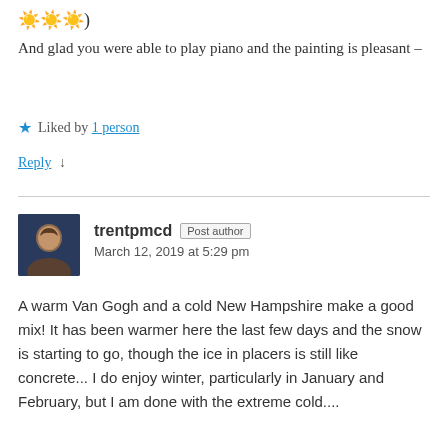☀️☀️☀️) And glad you were able to play piano and the painting is pleasant –
★ Liked by 1 person
Reply ↓
trentpmcd Post author
March 12, 2019 at 5:29 pm
A warm Van Gogh and a cold New Hampshire make a good mix! It has been warmer here the last few days and the snow is starting to go, though the ice in placers is still like concrete... I do enjoy winter, particularly in January and February, but I am done with the extreme cold....